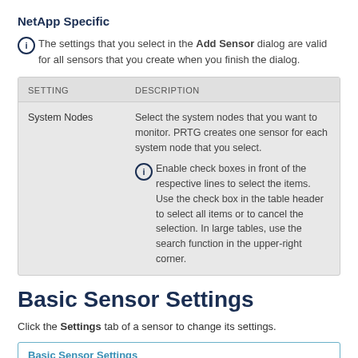NetApp Specific
The settings that you select in the Add Sensor dialog are valid for all sensors that you create when you finish the dialog.
| SETTING | DESCRIPTION |
| --- | --- |
| System Nodes | Select the system nodes that you want to monitor. PRTG creates one sensor for each system node that you select.
Enable check boxes in front of the respective lines to select the items. Use the check box in the table header to select all items or to cancel the selection. In large tables, use the search function in the upper-right corner. |
Basic Sensor Settings
Click the Settings tab of a sensor to change its settings.
| Basic Sensor Settings | Sensor Name | Example Name |
| --- | --- | --- |